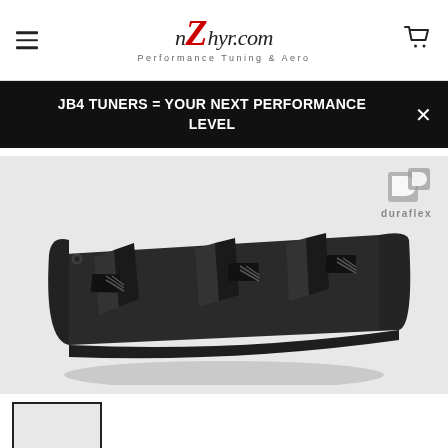nZhyr.com — Performance Tuning & Aero
JB4 TUNERS = YOUR NEXT PERFORMANCE LEVEL
[Figure (photo): Black automotive rear diffuser product photo on grey background, with Duraflex logo in top right corner. The diffuser is a wide flat panel with three angled fins and three mesh vent cutouts.]
[Figure (photo): Thumbnail image of the same rear diffuser product, shown in a small bordered box.]